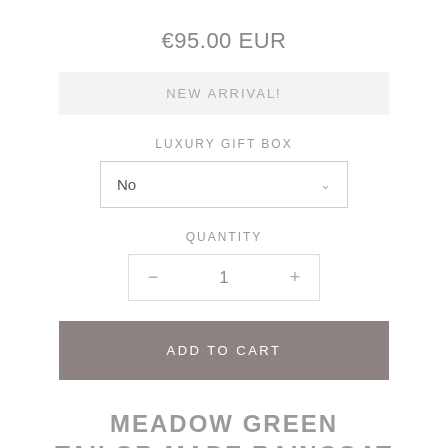€95.00 EUR
NEW ARRIVAL!
LUXURY GIFT BOX
No
QUANTITY
− 1 +
ADD TO CART
MEADOW GREEN TAILOR-MADE RAINCOAT